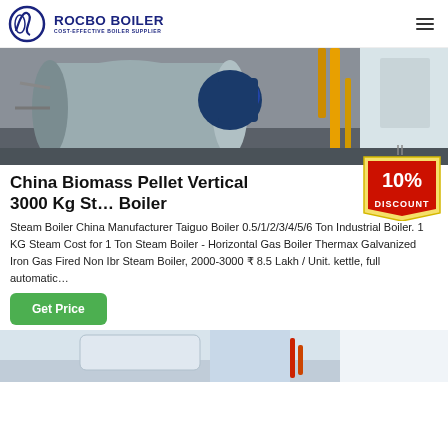ROCBO BOILER — COST-EFFECTIVE BOILER SUPPLIER
[Figure (photo): Industrial boiler equipment photo showing large horizontal boiler with blue motor and yellow gas pipes in a facility]
China Biomass Pellet Vertical 3000 Kg Steam Boiler
[Figure (illustration): 10% DISCOUNT badge/tag graphic]
Steam Boiler China Manufacturer Taiguo Boiler 0.5/1/2/3/4/5/6 Ton Industrial Boiler. 1 KG Steam Cost for 1 Ton Steam Boiler - Horizontal Gas Boiler Thermax Galvanized Iron Gas Fired Non Ibr Steam Boiler, 2000-3000 ₹ 8.5 Lakh / Unit. kettle, full automatic…
[Figure (photo): Partial view of another industrial boiler product at the bottom of the page]